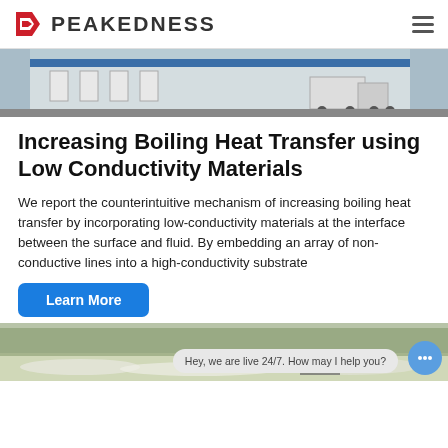PEAKEDNESS
[Figure (photo): Industrial building exterior with white trucks and loading area]
Increasing Boiling Heat Transfer using Low Conductivity Materials
We report the counterintuitive mechanism of increasing boiling heat transfer by incorporating low-conductivity materials at the interface between the surface and fluid. By embedding an array of non-conductive lines into a high-conductivity substrate
Learn More
[Figure (photo): Outdoor industrial site with white rocky ground and machinery]
Hey, we are live 24/7. How may I help you?